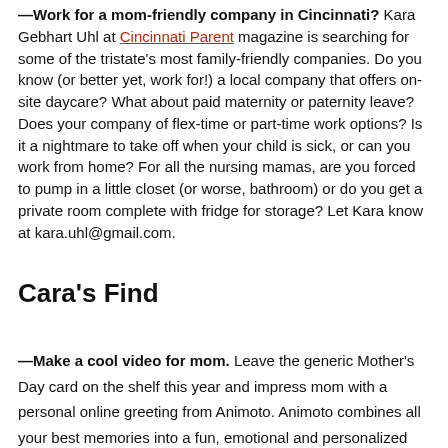—Work for a mom-friendly company in Cincinnati? Kara Gebhart Uhl at Cincinnati Parent magazine is searching for some of the tristate's most family-friendly companies. Do you know (or better yet, work for!) a local company that offers on-site daycare? What about paid maternity or paternity leave? Does your company of flex-time or part-time work options? Is it a nightmare to take off when your child is sick, or can you work from home? For all the nursing mamas, are you forced to pump in a little closet (or worse, bathroom) or do you get a private room complete with fridge for storage? Let Kara know at kara.uhl@gmail.com.
Cara's Find
—Make a cool video for mom. Leave the generic Mother's Day card on the shelf this year and impress mom with a personal online greeting from Animoto. Animoto combines all your best memories into a fun, emotional and personalized music video that can be shared online – letting mom show your...